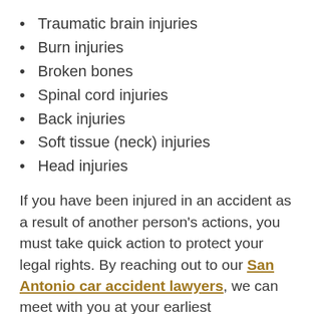Traumatic brain injuries
Burn injuries
Broken bones
Spinal cord injuries
Back injuries
Soft tissue (neck) injuries
Head injuries
If you have been injured in an accident as a result of another person’s actions, you must take quick action to protect your legal rights. By reaching out to our San Antonio car accident lawyers, we can meet with you at your earliest convenience to determine what legal options are available to help you get justice.